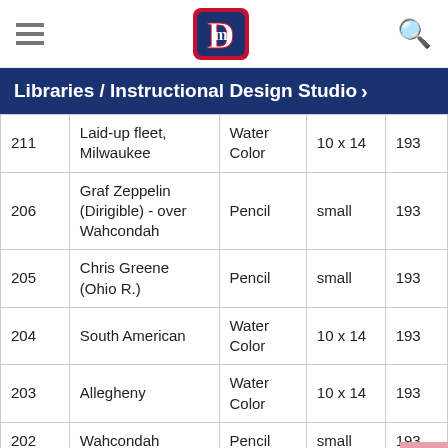Libraries / Instructional Design Studio
| # | Name | Medium | Size | Year |
| --- | --- | --- | --- | --- |
| 211 | Laid-up fleet, Milwaukee | Water Color | 10 x 14 | 193 |
| 206 | Graf Zeppelin (Dirigible) - over Wahcondah | Pencil | small | 193 |
| 205 | Chris Greene (Ohio R.) | Pencil | small | 193 |
| 204 | South American | Water Color | 10 x 14 | 193 |
| 203 | Allegheny | Water Color | 10 x 14 | 193 |
| 202 | Wahcondah | Pencil | small | 193 |
| 201 | City of Milwaukee [car | Water Color | 10 x 14 | 193 |